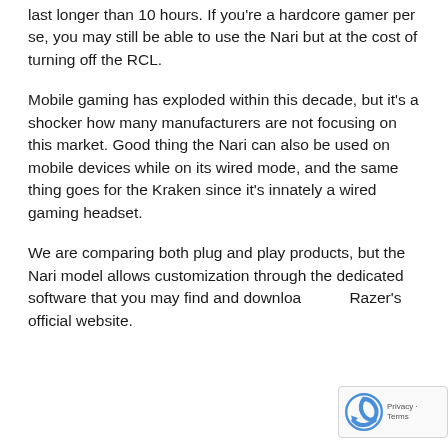last longer than 10 hours. If you're a hardcore gamer per se, you may still be able to use the Nari but at the cost of turning off the RCL.
Mobile gaming has exploded within this decade, but it's a shocker how many manufacturers are not focusing on this market. Good thing the Nari can also be used on mobile devices while on its wired mode, and the same thing goes for the Kraken since it's innately a wired gaming headset.
We are comparing both plug and play products, but the Nari model allows customization through the dedicated software that you may find and download Razer's official website.